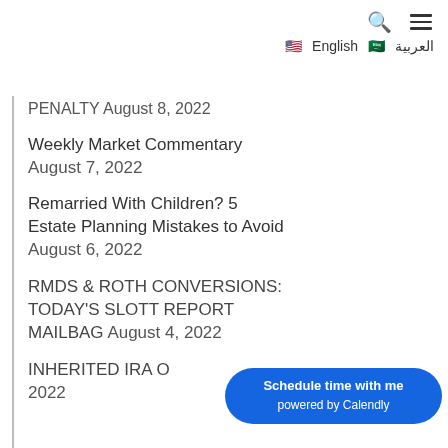🔍 ≡ 🇺🇸 English 🇸🇦 العربية
PENALTY August 8, 2022
Weekly Market Commentary August 7, 2022
Remarried With Children? 5 Estate Planning Mistakes to Avoid August 6, 2022
RMDS & ROTH CONVERSIONS: TODAY'S SLOTT REPORT MAILBAG August 4, 2022
INHERITED IRA O… 2022